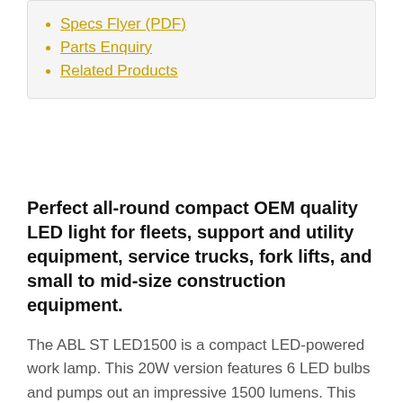Specs Flyer (PDF)
Parts Enquiry
Related Products
Perfect all-round compact OEM quality LED light for fleets, support and utility equipment, service trucks, fork lifts, and small to mid-size construction equipment.
The ABL ST LED1500 is a compact LED-powered work lamp. This 20W version features 6 LED bulbs and pumps out an impressive 1500 lumens. This lamp exceeds everyday demands in all applications from handling equipment to heavy vehicles.
ABL Lights have revolutionised the compact heavy-duty lights market with a value-priced high